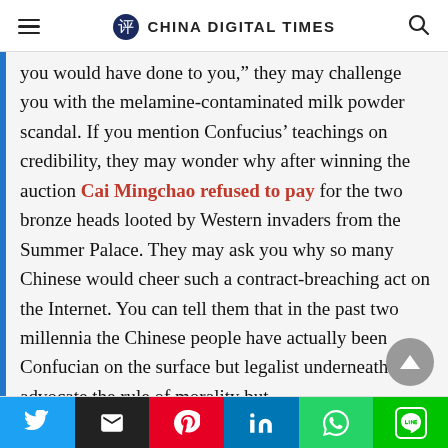CHINA DIGITAL TIMES
you would have done to you,” they may challenge you with the melamine-contaminated milk powder scandal. If you mention Confucius’ teachings on credibility, they may wonder why after winning the auction Cai Mingchao refused to pay for the two bronze heads looted by Western invaders from the Summer Palace. They may ask you why so many Chinese would cheer such a contract-breaching act on the Internet. You can tell them that in the past two millennia the Chinese people have actually been Confucian on the surface but legalist underneath. We advocate the rule of morality but
Social share bar: Twitter, Email, Pinterest, LinkedIn, WhatsApp, LINE